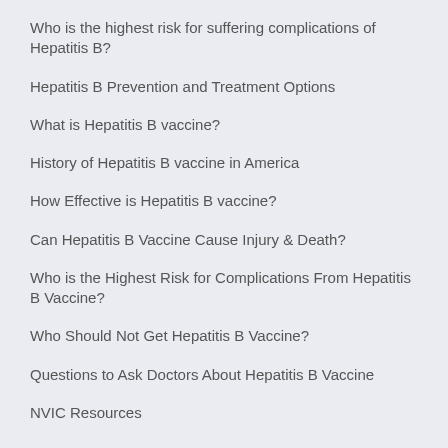Who is the highest risk for suffering complications of Hepatitis B?
Hepatitis B Prevention and Treatment Options
What is Hepatitis B vaccine?
History of Hepatitis B vaccine in America
How Effective is Hepatitis B vaccine?
Can Hepatitis B Vaccine Cause Injury & Death?
Who is the Highest Risk for Complications From Hepatitis B Vaccine?
Who Should Not Get Hepatitis B Vaccine?
Questions to Ask Doctors About Hepatitis B Vaccine
NVIC Resources